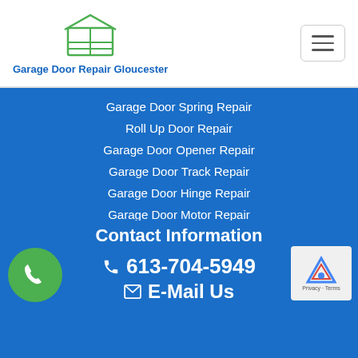[Figure (logo): Garage door icon in green outline with text 'Garage Door Repair Gloucester' below in blue]
[Figure (illustration): Hamburger menu button (three horizontal lines) in a rounded rectangle]
Garage Door Spring Repair
Roll Up Door Repair
Garage Door Opener Repair
Garage Door Track Repair
Garage Door Hinge Repair
Garage Door Motor Repair
Garage Door Panel Repair
Garage Door Cable Repair
Privacy Policy
Contact Information
613-704-5949
E-Mail Us